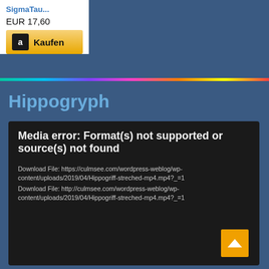SigmaTau...
EUR 17,60
[Figure (screenshot): Amazon Kaufen button with Amazon logo on golden background]
[Figure (illustration): Rainbow colored horizontal bar divider]
Hippogryph
[Figure (screenshot): Media error panel with black background showing: Media error: Format(s) not supported or source(s) not found. Download File links for Hippogriff-streched-mp4.mp4]
Media error: Format(s) not supported or source(s) not found
Download File: https://culmsee.com/wordpress-weblog/wp-content/uploads/2019/04/Hippogriff-streched-mp4.mp4?_=1
Download File: http://culmsee.com/wordpress-weblog/wp-content/uploads/2019/04/Hippogriff-streched-mp4.mp4?_=1